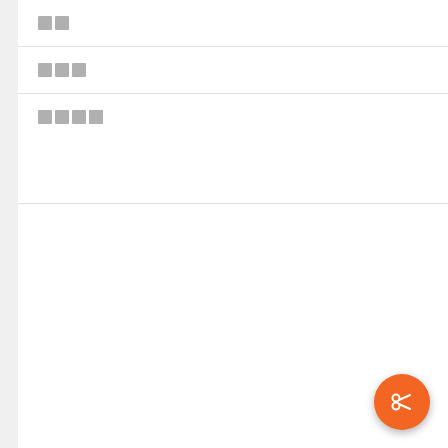██
███
████
████   Kernel for OST to PST
██
███
████
[Figure (other): Orange circular FAB button with scissors icon]